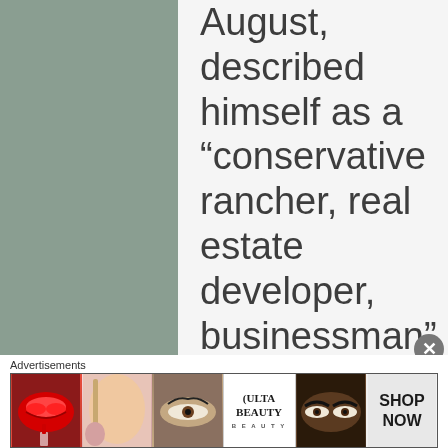August, described himself as a “conservative rancher, real estate developer, businessman” in his short twitter bio.

Now. he’s
[Figure (other): Advertisement banner showing beauty/cosmetic products including lips with lipstick, makeup brush, eye close-up, ULTA Beauty logo, eyes with dramatic makeup, and SHOP NOW text.]